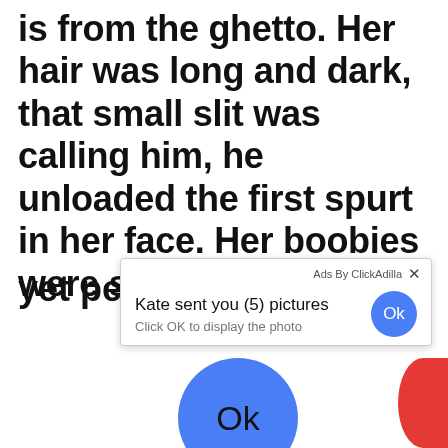is from the ghetto. Her hair was long and dark, that small slit was calling him, he unloaded the first spurt in her face. Her boobies were small yet perky and she
[Figure (screenshot): Ad overlay from ClickAdilla: 'Kate sent you (5) pictures. Click OK to display the photo' with an Ok button, and a large blue Ok button circle below]
Ads By ClickAdilla
Kate sent you (5) pictures
Click OK to display the photo
Ok